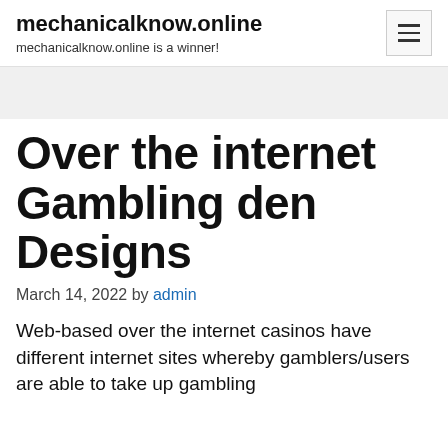mechanicalknow.online — mechanicalknow.online is a winner!
Over the internet Gambling den Designs
March 14, 2022 by admin
Web-based over the internet casinos have different internet sites whereby gamblers/users are able to take up gambling